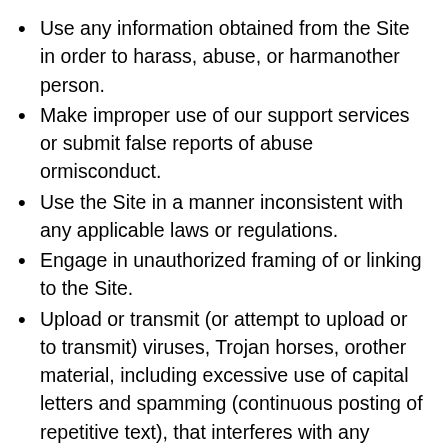Use any information obtained from the Site in order to harass, abuse, or harmanother person.
Make improper use of our support services or submit false reports of abuse ormisconduct.
Use the Site in a manner inconsistent with any applicable laws or regulations.
Engage in unauthorized framing of or linking to the Site.
Upload or transmit (or attempt to upload or to transmit) viruses, Trojan horses, orother material, including excessive use of capital letters and spamming (continuous posting of repetitive text), that interferes with any party's uninterrupted use and enjoyment of the Site or modifies, impairs,